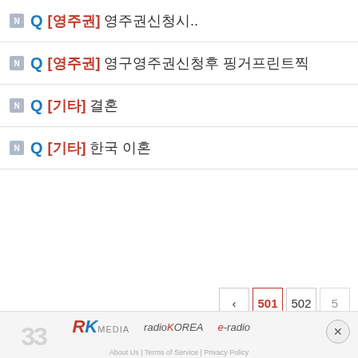Q [영주권] 영주권신청시..
Q [영주권] 영구영주권신청후 핑거프린트찍..
Q [기타] 결혼
Q [기타] 한국 이혼
< 501 502 5...
RK MEDIA | radioKOREA | e-radio | About Us | Terms of Service | Privacy Policy